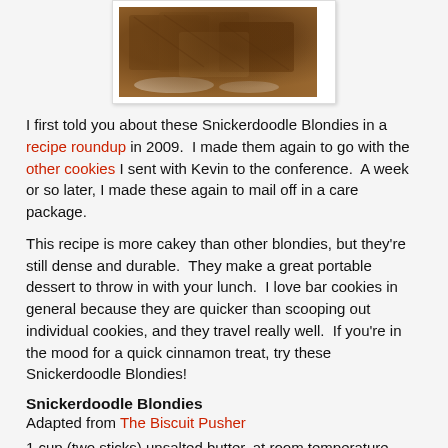[Figure (photo): Photo of Snickerdoodle Blondies on a plate, square brownies with cinnamon sugar topping]
I first told you about these Snickerdoodle Blondies in a recipe roundup in 2009.  I made them again to go with the other cookies I sent with Kevin to the conference.  A week or so later, I made these again to mail off in a care package.
This recipe is more cakey than other blondies, but they're still dense and durable.  They make a great portable dessert to throw in with your lunch.  I love bar cookies in general because they are quicker than scooping out individual cookies, and they travel really well.  If you're in the mood for a quick cinnamon treat, try these Snickerdoodle Blondies!
Snickerdoodle Blondies
Adapted from The Biscuit Pusher
1 cup (two sticks) unsalted butter, at room temperature